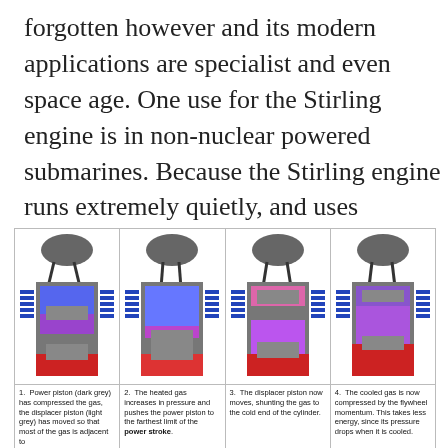forgotten however and its modern applications are specialist and even space age. One use for the Stirling engine is in non-nuclear powered submarines. Because the Stirling engine runs extremely quietly, and uses external combustion, it has found a place in the submarines made by Saab Kockums.
[Figure (schematic): Four-panel diagram showing the four stages of a Stirling engine cycle. Each panel shows a cross-section of the engine with flywheel on top, displacer cylinder in the middle with blue (cool) and purple/red (hot) gas sections, and a red power piston at bottom. 1) Power piston (dark grey) has compressed the gas. 2) Heated gas increases in pressure and pushes the power piston to farthest limit of the power stroke. 3) The displacer piston now moves, shunting the gas to the cold end of the cylinder. 4) The cooled gas is now compressed by the flywheel momentum.]
1. Power piston (dark grey) has compressed the gas, the displacer piston (light grey) has moved so that most of the gas is adjacent to
2. The heated gas increases in pressure and pushes the power piston to the farthest limit of the power stroke.
3. The displacer piston now moves, shunting the gas to the cold end of the cylinder.
4. The cooled gas is now compressed by the flywheel momentum. This takes less energy, since its pressure drops when it is cooled.